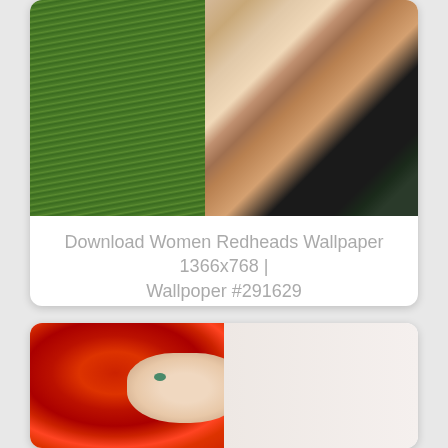[Figure (photo): Photo of a young woman with auburn/red curly hair against a green grass background, wearing a black top. Cropped to show face, neck and upper shoulders.]
Download Women Redheads Wallpaper 1366x768 | Wallpoper #291629
[Figure (photo): Close-up photo of a woman with vivid bright red hair, green eyes, and freckles against a light/white background.]